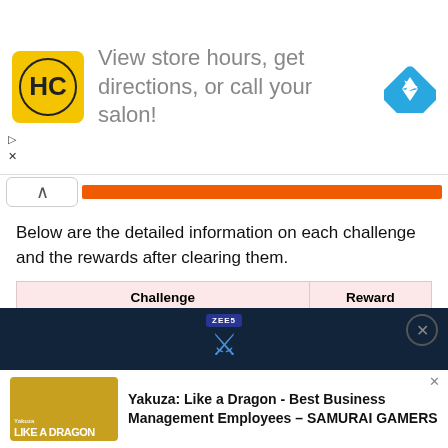[Figure (screenshot): Advertisement banner: HC logo (yellow/black), text 'View store hours, get directions, or call your salon!', blue navigation diamond icon on right]
[Figure (screenshot): Collapse/chevron button with orange progress bar]
Below are the detailed information on each challenge and the rewards after clearing them.
| Challenge | Reward |
| --- | --- |
| Earn 5,000 chips in Black Jack | Intellect increase |
| Earn 90 points in Spring Breeze (Karaoke) | Passion increase |
| Earn 90 points in Like a Butterfly (Karaoke) | Passion increase |
| Earn 90 points in Machine Gun Kiss (Karaoke) | Passion increase |
| Clear 3 stages in Virtua Fighter 2 | Passion increase |
[Figure (screenshot): Bottom advertisement: Aquaman movie banner (dark blue) with ZEE5 badge, and Yakuza Like a Dragon game ad with text 'Yakuza: Like a Dragon - Best Business Management Employees – SAMURAI GAMERS']